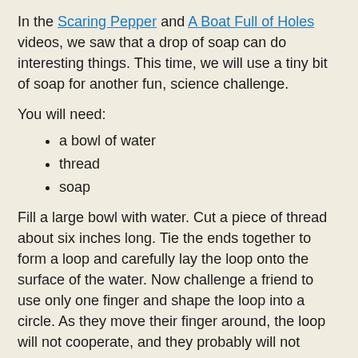In the Scaring Pepper and A Boat Full of Holes videos, we saw that a drop of soap can do interesting things. This time, we will use a tiny bit of soap for another fun, science challenge.
You will need:
a bowl of water
thread
soap
Fill a large bowl with water. Cut a piece of thread about six inches long. Tie the ends together to form a loop and carefully lay the loop onto the surface of the water. Now challenge a friend to use only one finger and shape the loop into a circle. As they move their finger around, the loop will not cooperate, and they probably will not succeed. Instead, the string will stick to their finger. When they give up, make sure that the loop is still floating on the surface of the water. If it sinks, start with a fresh loop.